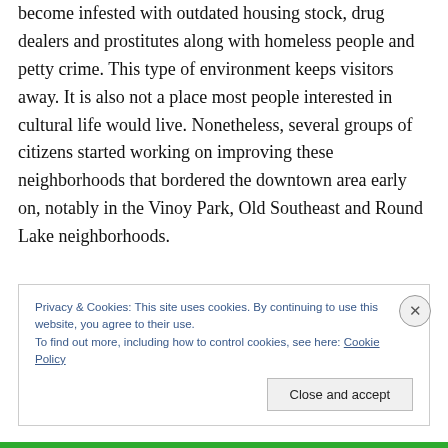become infested with outdated housing stock, drug dealers and prostitutes along with homeless people and petty crime. This type of environment keeps visitors away. It is also not a place most people interested in cultural life would live. Nonetheless, several groups of citizens started working on improving these neighborhoods that bordered the downtown area early on, notably in the Vinoy Park, Old Southeast and Round Lake neighborhoods.

Frequently these groups were at odds on how to best improve the area, with some wanting higher density,
Privacy & Cookies: This site uses cookies. By continuing to use this website, you agree to their use.
To find out more, including how to control cookies, see here: Cookie Policy